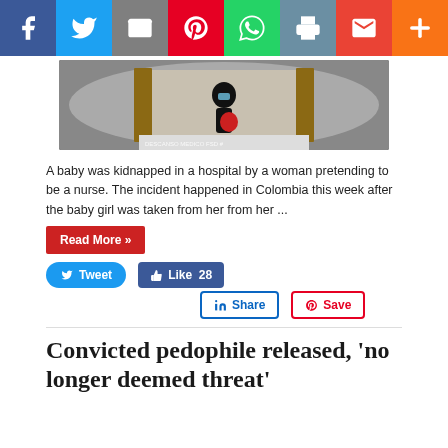[Figure (screenshot): Social media share bar with icons for Facebook, Twitter, Email, Pinterest, WhatsApp, Print, Gmail, and More]
[Figure (photo): Security camera footage of a woman in a hospital hallway wearing a mask and carrying a bag. Watermark text reads DESCANSO MEDICO FSD #]
A baby was kidnapped in a hospital by a woman pretending to be a nurse. The incident happened in Colombia this week after the baby girl was taken from her from her ...
Read More »
Tweet  Like 28  Share  Save
Convicted pedophile released, 'no longer deemed threat'